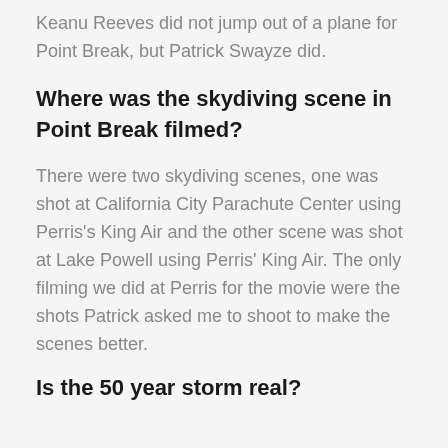Keanu Reeves did not jump out of a plane for Point Break, but Patrick Swayze did.
Where was the skydiving scene in Point Break filmed?
There were two skydiving scenes, one was shot at California City Parachute Center using Perris’s King Air and the other scene was shot at Lake Powell using Perris’ King Air. The only filming we did at Perris for the movie were the shots Patrick asked me to shoot to make the scenes better.
Is the 50 year storm real?